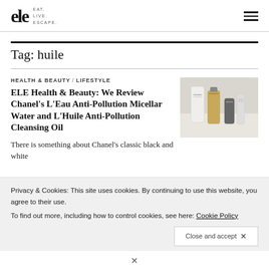ele EAT. LIVE. ESCAPE.
Tag: huile
HEALTH & BEAUTY / LIFESTYLE
ELE Health & Beauty: We Review Chanel's L'Eau Anti-Pollution Micellar Water and L'Huile Anti-Pollution Cleansing Oil
[Figure (photo): Photo of Chanel skincare products including bottles and tubes on white background]
There is something about Chanel's classic black and white packaging which divides Chanel's customers and...
Privacy & Cookies: This site uses cookies. By continuing to use this website, you agree to their use.
To find out more, including how to control cookies, see here: Cookie Policy